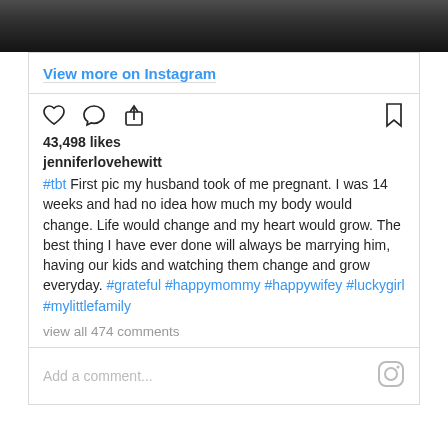[Figure (photo): Black and white photo strip showing partial view of a person on a patterned floor]
View more on Instagram
[Figure (other): Instagram action icons: heart (like), comment bubble, share/upload arrow, and bookmark]
43,498 likes
jenniferlovehewitt
#tbt First pic my husband took of me pregnant. I was 14 weeks and had no idea how much my body would change. Life would change and my heart would grow. The best thing I have ever done will always be marrying him, having our kids and watching them change and grow everyday. #grateful #happymommy #happywifey #luckygirl #mylittlefamily
view all 474 comments
Add a comment...